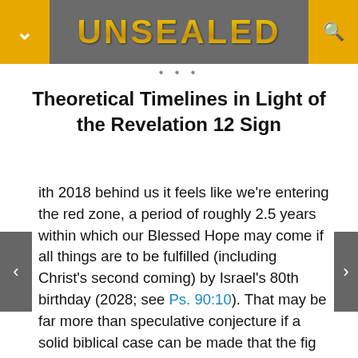UNSEALED
Theoretical Timelines in Light of the Revelation 12 Sign
With 2018 behind us it feels like we're entering the red zone, a period of roughly 2.5 years within which our Blessed Hope may come if all things are to be fulfilled (including Christ's second coming) by Israel's 80th birthday (2028; see Ps. 90:10). That may be far more than speculative conjecture if a solid biblical case can be made that the fig tree, is, in fact, a symbol of national Israel as I argue here. We should also keep in mind that there is scant biblical evidence one way or the other if a gap in time occurs between the rapture and the onset of Daniel's 70th Week. We should always live with the